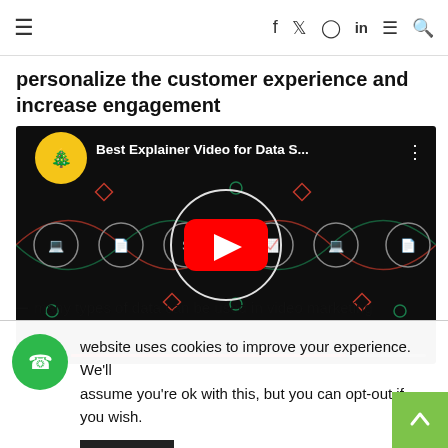≡  f  𝕏  ◎  in  ≡  🔍
personalize the customer experience and increase engagement
[Figure (screenshot): YouTube video thumbnail for 'Best Explainer Video for Data S...' showing a dark background with data science icons connected by sinusoidal curves and a red YouTube play button in the center. A yellow circular logo is in the top left.]
many types of data can be used in video marketing
website uses cookies to improve your experience. We'll assume you're ok with this, but you can opt-out if you wish.